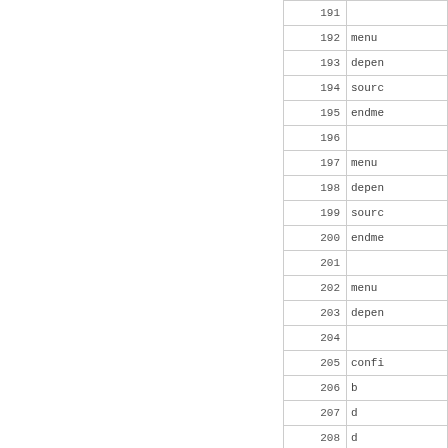| line | code |
| --- | --- |
| 191 |  |
| 192 | menu |
| 193 | depen |
| 194 | sourc |
| 195 | endme |
| 196 |  |
| 197 | menu |
| 198 | depen |
| 199 | sourc |
| 200 | endme |
| 201 |  |
| 202 | menu |
| 203 | depen |
| 204 |  |
| 205 | confi |
| 206 | b |
| 207 | d |
| 208 | d |
| 209 | h |
| 210 |  |